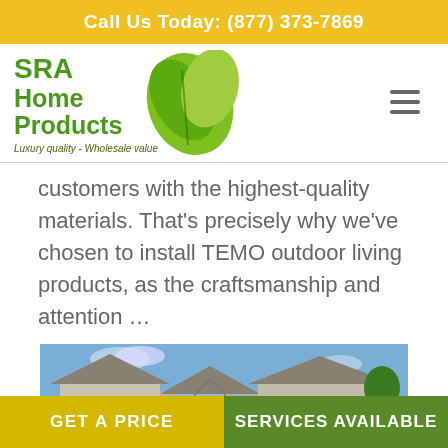Call Us Today: (877) 373-7869
[Figure (logo): SRA Home Products logo with green leaf graphic and tagline 'Luxury quality - Wholesale value']
customers with the highest-quality materials. That's precisely why we've chosen to install TEMO outdoor living products, as the craftsmanship and attention …
[Figure (photo): Exterior photo of a house with a glass sunroom addition, showing siding and roof]
GET A PRICE
SERVICES AVAILABLE